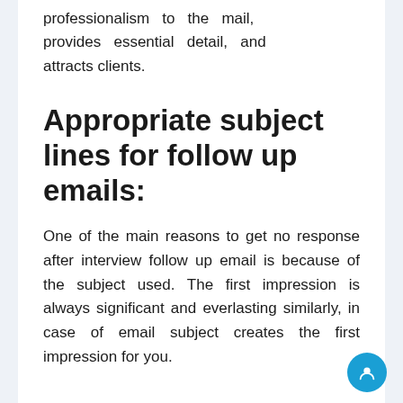professionalism to the mail, provides essential detail, and attracts clients.
Appropriate subject lines for follow up emails:
One of the main reasons to get no response after interview follow up email is because of the subject used. The first impression is always significant and everlasting similarly, in case of email subject creates the first impression for you.